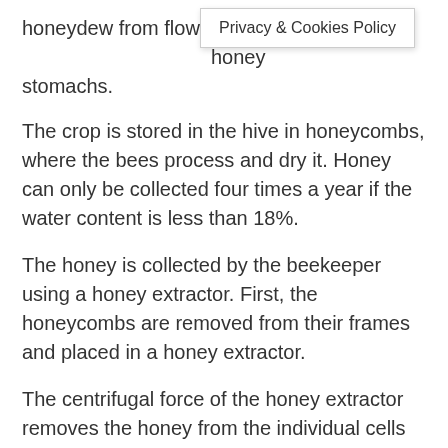honeydew from flowers in their honey stomachs.
Privacy & Cookies Policy
The crop is stored in the hive in honeycombs, where the bees process and dry it. Honey can only be collected four times a year if the water content is less than 18%.
The honey is collected by the beekeeper using a honey extractor. First, the honeycombs are removed from their frames and placed in a honey extractor.
The centrifugal force of the honey extractor removes the honey from the individual cells without damaging them. The beekeeper then returns the combs to the hive.
The extracted honey is collected in a container and sifted multiple times through a sieve to ensure that